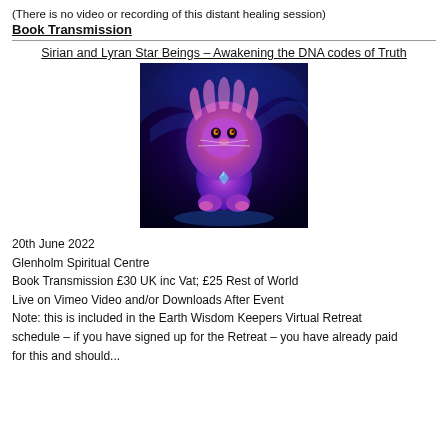(There is no video or recording of this distant healing session)
Book Transmission
Sirian and Lyran Star Beings – Awakening the DNA codes of Truth
[Figure (illustration): Fantasy digital art illustration of a lion-like creature with colorful purple, pink, and blue cosmic/mystical appearance, sitting upright against a swirling blue cosmic background]
20th June 2022
Glenholm Spiritual Centre
Book Transmission £30 UK inc Vat; £25 Rest of World
Live on Vimeo Video and/or Downloads After Event
Note: this is included in the Earth Wisdom Keepers Virtual Retreat schedule – if you have signed up for the Retreat – you have already paid for this and should...